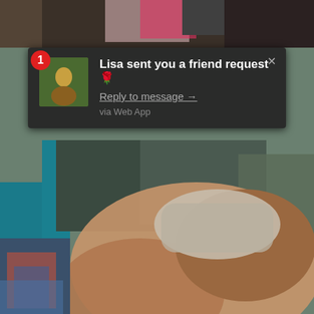[Figure (screenshot): Screenshot of a social media notification overlay on top of a blurred background photo. The notification reads 'Lisa sent you a friend request' with a 'Reply to message →' link and 'via Web App' text. A red badge with the number 1 appears in the top-left. An X close button is in the top-right of the notification.]